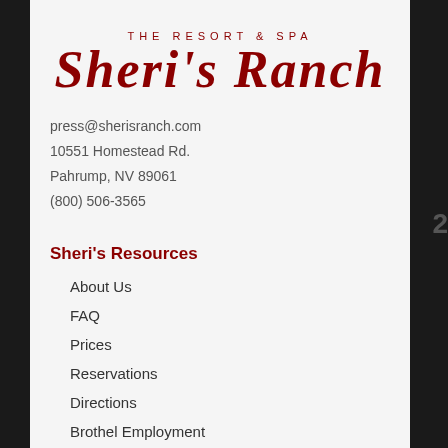[Figure (logo): Sheri's Ranch - The Resort & Spa logo with large serif italic text in dark red]
press@sherisranch.com
10551 Homestead Rd.
Pahrump, NV 89061
(800) 506-3565
Sheri's Resources
About Us
FAQ
Prices
Reservations
Directions
Brothel Employment